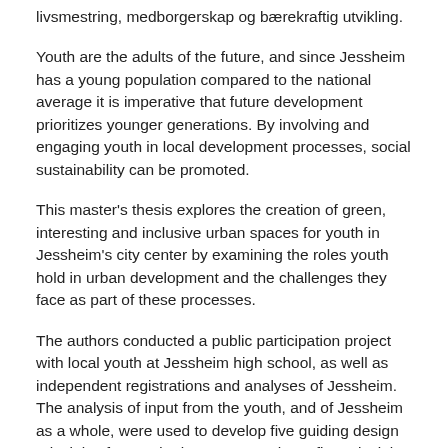livsmestring, medborgerskap og bærekraftig utvikling.
Youth are the adults of the future, and since Jessheim has a young population compared to the national average it is imperative that future development prioritizes younger generations. By involving and engaging youth in local development processes, social sustainability can be promoted.
This master's thesis explores the creation of green, interesting and inclusive urban spaces for youth in Jessheim's city center by examining the roles youth hold in urban development and the challenges they face as part of these processes.
The authors conducted a public participation project with local youth at Jessheim high school, as well as independent registrations and analyses of Jessheim. The analysis of input from the youth, and of Jessheim as a whole, were used to develop five guiding design principles for good urban spaces. These five principles form the basis for a feasibility study of Jessheim's city center.
«The youth block» is a cohesive area in Jessheim's city center that includes four urban spaces which reflect the wishes and needs of the local youth. We argue that this design proposal will generate urban vitality and serve as a meeting place for the local community,